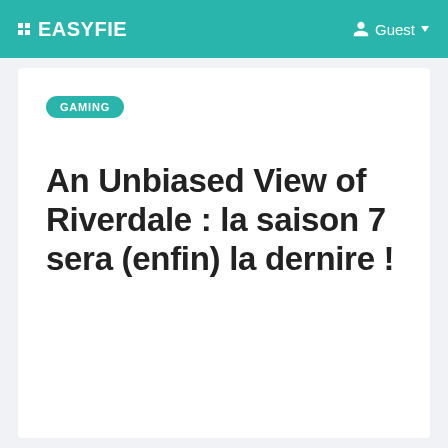EASYFIE   Guest
GAMING
An Unbiased View of Riverdale : la saison 7 sera (enfin) la dernire !